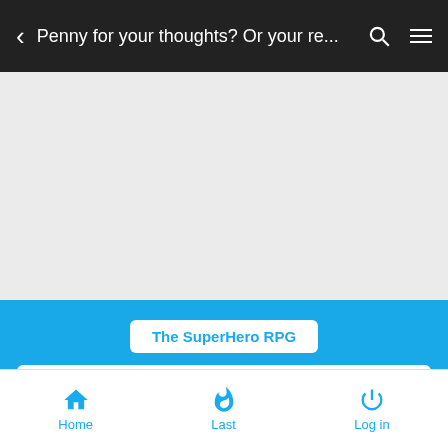< Penny for your thoughts? Or your re...
[Figure (screenshot): Gray blank content area]
The SuperHero RPG
> The Superhero RPG Universe aka Roleplay Section
> North America
> United States of America
> Los Angeles, California
Home  Last  Log in